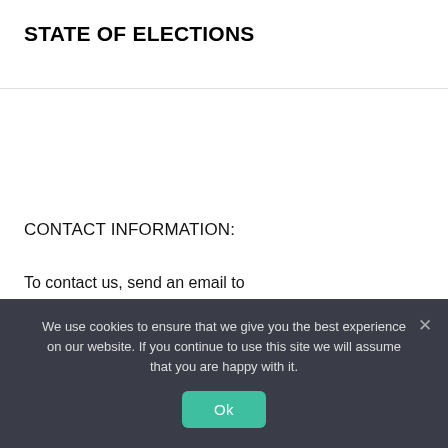STATE OF ELECTIONS
CONTACT INFORMATION:
To contact us, send an email to wmstateofelections@gmail.com
We use cookies to ensure that we give you the best experience on our website. If you continue to use this site we will assume that you are happy with it.